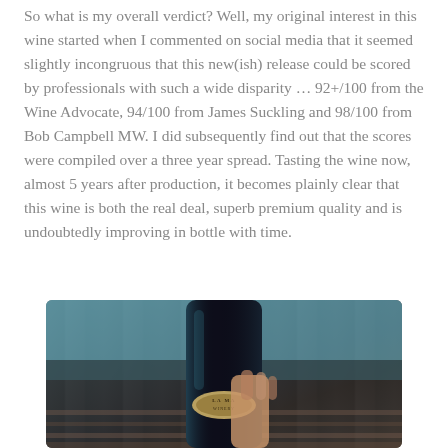So what is my overall verdict? Well, my original interest in this wine started when I commented on social media that it seemed slightly incongruous that this new(ish) release could be scored by professionals with such a wide disparity ... 92+/100 from the Wine Advocate, 94/100 from James Suckling and 98/100 from Bob Campbell MW. I did subsequently find out that the scores were compiled over a three year spread. Tasting the wine now, almost 5 years after production, it becomes plainly clear that this wine is both the real deal, superb premium quality and is undoubtedly improving in bottle with time.
[Figure (photo): A hand holding a dark wine bottle, viewed from above showing the label on the bottle cap, placed on a wooden surface. The bottle appears to be a premium wine with a circular gold label.]